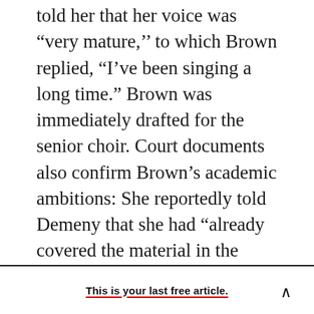told her that her voice was “very mature,’’ to which Brown replied, “I’ve been singing a long time.” Brown was immediately drafted for the senior choir. Court documents also confirm Brown’s academic ambitions: She reportedly told Demeny that she had “alcready covered the material in the integrated science course and could be successful in a high level.”
This is your last free article.